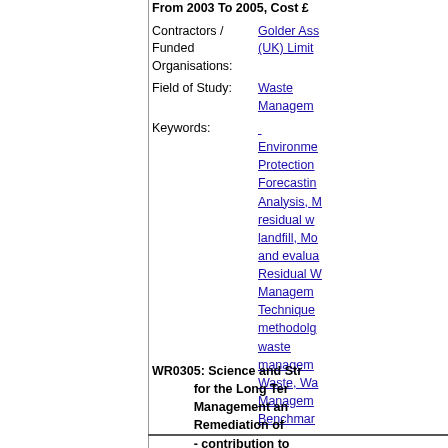Contractors / Funded Organisations: Golder Associates (UK) Limited
Field of Study: Waste Management
Keywords: Environmental Protection, Forecasting, Analysis, residual waste, landfill, Monitoring and evaluation, Residual Waste Management Techniques, methodology, waste management, Waste, Waste Management Benchmarking
WR0305: Science and Strategy for the Long Term Management and Remediation of - contribution to grant